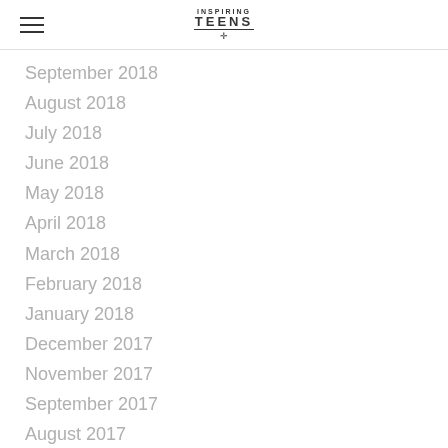Inspiring Teens
September 2018
August 2018
July 2018
June 2018
May 2018
April 2018
March 2018
February 2018
January 2018
December 2017
November 2017
September 2017
August 2017
May 2016
April 2016
March 2016
February 2016
January 2016